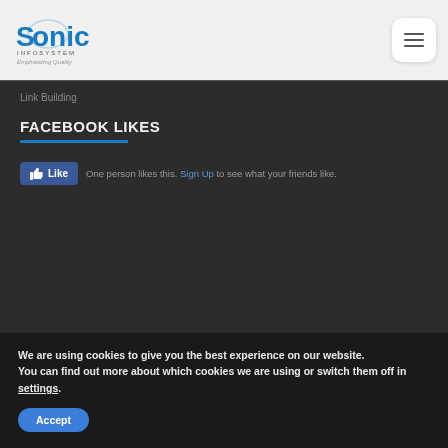Sonic Infosystem — Emphasizing Quality
Link Building
FACEBOOK LIKES
[Figure (other): Facebook Like button widget with thumbs up icon and text 'One person likes this. Sign Up to see what your friends like.']
We are using cookies to give you the best experience on our website.
You can find out more about which cookies we are using or switch them off in settings.
Accept